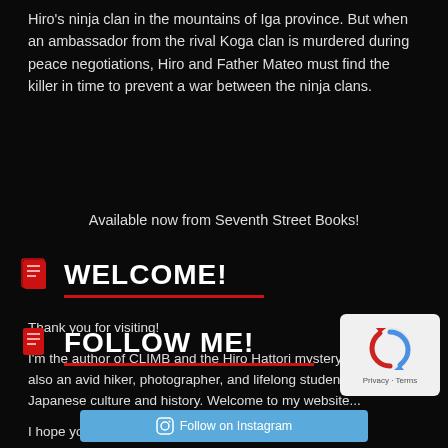Hiro's ninja clan in the mountains of Iga province. But when an ambassador from the rival Koga clan is murdered during peace negotiations, Hiro and Father Mateo must find the killer in time to prevent a war between the ninja clans.
Available now from Seventh Street Books!
WELCOME!
Thank you for visiting!
I'm the author of CLIMB and the Hiro Hattori mystery novels. I'm also an avid hiker, photographer, and lifelong student of Japanese culture and history. Welcome to my website...
I hope you'll stay a while and enjoy the view!
FOLLOW ME!
[Figure (other): reCAPTCHA logo badge with Privacy and Terms links]
Follow on Instagram